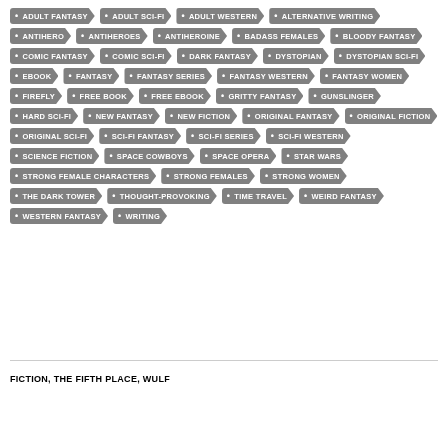ADULT FANTASY
ADULT SCI-FI
ADULT WESTERN
ALTERNATIVE WRITING
ANTIHERO
ANTIHEROES
ANTIHEROINE
BADASS FEMALES
BLOODY FANTASY
COMIC FANTASY
COMIC SCI-FI
DARK FANTASY
DYSTOPIAN
DYSTOPIAN SCI-FI
EBOOK
FANTASY
FANTASY SERIES
FANTASY WESTERN
FANTASY WOMEN
FIREFLY
FREE BOOK
FREE EBOOK
GRITTY FANTASY
GUNSLINGER
HARD SCI-FI
NEW FANTASY
NEW FICTION
ORIGINAL FANTASY
ORIGINAL FICTION
ORIGINAL SCI-FI
SCI-FI FANTASY
SCI-FI SERIES
SCI-FI WESTERN
SCIENCE FICTION
SPACE COWBOYS
SPACE OPERA
STAR WARS
STRONG FEMALE CHARACTERS
STRONG FEMALES
STRONG WOMEN
THE DARK TOWER
THOUGHT-PROVOKING
TIME TRAVEL
WEIRD FANTASY
WESTERN FANTASY
WRITING
FICTION, THE FIFTH PLACE, WULF